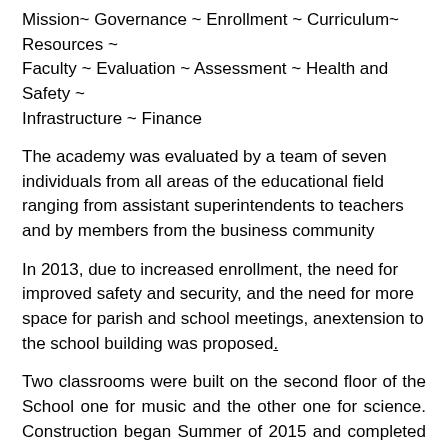Mission~ Governance ~ Enrollment ~ Curriculum~ Resources ~ Faculty ~ Evaluation ~ Assessment ~ Health and Safety ~ Infrastructure ~ Finance
The academy was evaluated by a team of seven individuals from all areas of the educational field ranging from assistant superintendents to teachers and by members from the business community
In 2013, due to increased enrollment, the need for improved safety and security, and the need for more space for parish and school meetings, anextension to the school building was proposed.
Two classrooms were built on the second floor of the School one for music and the other one for science. Construction began Summer of 2015 and completed for opening of 2017 school year. Cardinal Sèan O' Malley will give its blessing